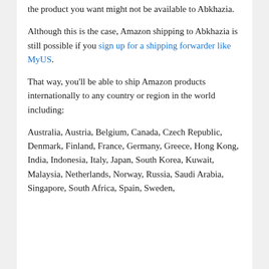the product you want might not be available to Abkhazia.
Although this is the case, Amazon shipping to Abkhazia is still possible if you sign up for a shipping forwarder like MyUS.
That way, you'll be able to ship Amazon products internationally to any country or region in the world including:
Australia, Austria, Belgium, Canada, Czech Republic, Denmark, Finland, France, Germany, Greece, Hong Kong, India, Indonesia, Italy, Japan, South Korea, Kuwait, Malaysia, Netherlands, Norway, Russia, Saudi Arabia, Singapore, South Africa, Spain, Sweden,